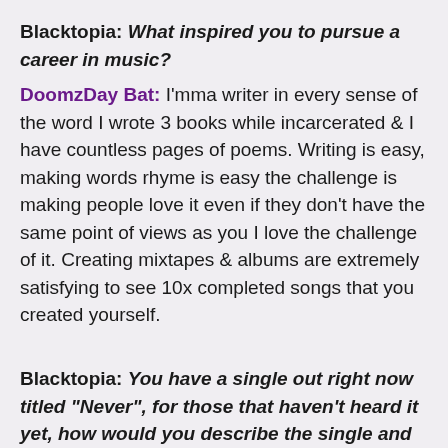Blacktopia: What inspired you to pursue a career in music?
DoomzDay Bat: I'mma writer in every sense of the word I wrote 3 books while incarcerated & I have countless pages of poems. Writing is easy, making words rhyme is easy the challenge is making people love it even if they don't have the same point of views as you I love the challenge of it. Creating mixtapes & albums are extremely satisfying to see 10x completed songs that you created yourself.
Blacktopia: You have a single out right now titled "Never", for those that haven't heard it yet, how would you describe the single and who did you work with for the single?
DoomzDay Bat: Yessir I'm glad you asked about